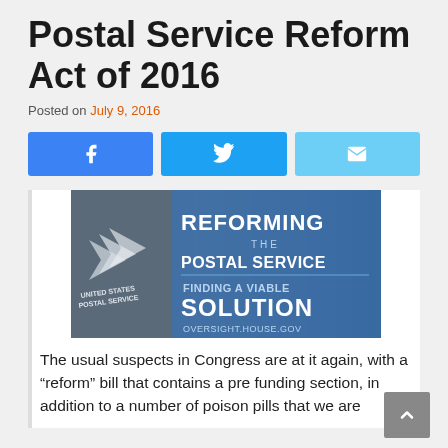Postal Service Reform Act of 2016
Posted on July 9, 2016
[Figure (screenshot): Three social media share buttons: Facebook (blue), Twitter (blue), and Email (light blue)]
[Figure (photo): Image reading 'REFORMING THE POSTAL SERVICE FINDING A VIABLE SOLUTION OVERSIGHT.HOUSE.GOV' with a United States Postal Service sign and building in the background.]
The usual suspects in Congress are at it again, with a “reform” bill that contains a pre funding section, in addition to a number of poison pills that we are